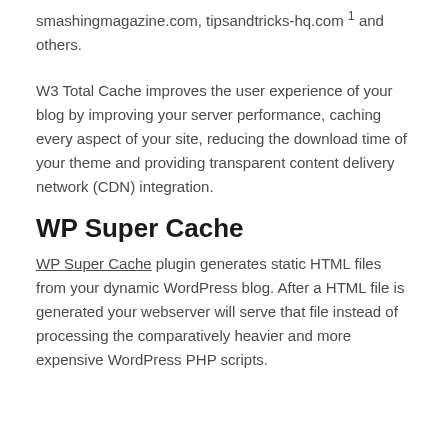smashingmagazine.com, tipsandtricks-hq.com 1 and others.
W3 Total Cache improves the user experience of your blog by improving your server performance, caching every aspect of your site, reducing the download time of your theme and providing transparent content delivery network (CDN) integration.
WP Super Cache
WP Super Cache plugin generates static HTML files from your dynamic WordPress blog. After a HTML file is generated your webserver will serve that file instead of processing the comparatively heavier and more expensive WordPress PHP scripts.